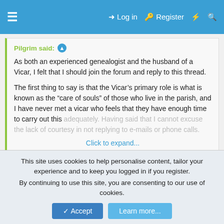≡  ➔ Log in  🔑 Register  ⚡  🔍
Pilgrim said: ↑
As both an experienced genealogist and the husband of a Vicar, I felt that I should join the forum and reply to this thread.

The first thing to say is that the Vicar's primary role is what is known as the "care of souls" of those who live in the parish, and I have never met a vicar who feels that they have enough time to carry out this adequately. Having said that I cannot excuse the lack of courtesy in not replying to e-mails or phone calls.
Click to expand...
thank you very much for the most helpful reply 🙂
the parish concerned is local to me, im in no hurry and havnt bothered them again - yet. however it is information i need, who is buried there with whom, i would do the search myself, all i
This site uses cookies to help personalise content, tailor your experience and to keep you logged in if you register.
By continuing to use this site, you are consenting to our use of cookies.